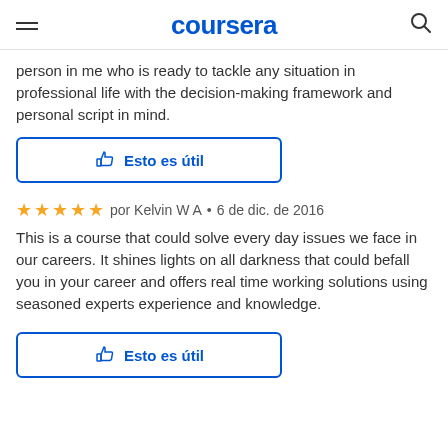coursera
person in me who is ready to tackle any situation in professional life with the decision-making framework and personal script in mind.
[Figure (other): Thumbs up icon button labeled 'Esto es útil' with blue border]
por Kelvin W A · 6 de dic. de 2016
This is a course that could solve every day issues we face in our careers. It shines lights on all darkness that could befall you in your career and offers real time working solutions using seasoned experts experience and knowledge.
[Figure (other): Thumbs up icon button labeled 'Esto es útil' with blue border]